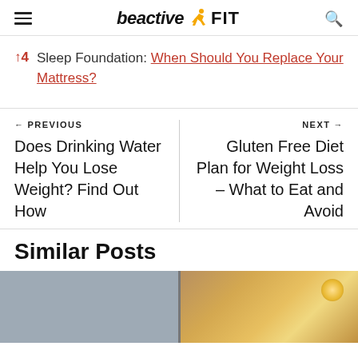beactive FIT
↑4  Sleep Foundation: When Should You Replace Your Mattress?
← PREVIOUS
Does Drinking Water Help You Lose Weight? Find Out How
NEXT →
Gluten Free Diet Plan for Weight Loss – What to Eat and Avoid
Similar Posts
[Figure (photo): A bathroom or room interior photo split into two panels: left panel shows a grey/neutral room interior, right panel shows a warm-lit room with a circular ceiling light.]